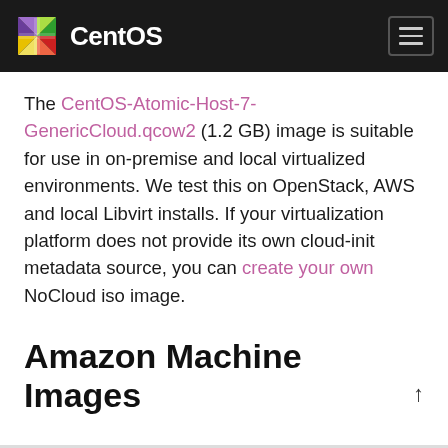CentOS
The CentOS-Atomic-Host-7-GenericCloud.qcow2 (1.2 GB) image is suitable for use in on-premise and local virtualized environments. We test this on OpenStack, AWS and local Libvirt installs. If your virtualization platform does not provide its own cloud-init metadata source, you can create your own NoCloud iso image.
Amazon Machine Images